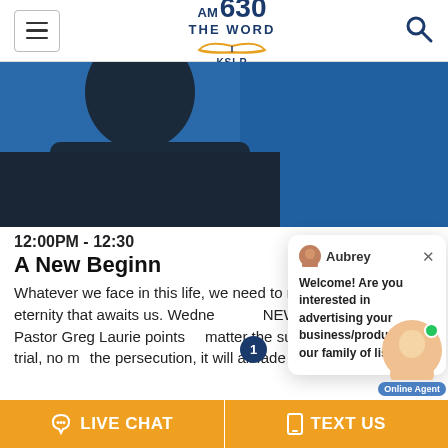AM 630 THE WORD KSLR
[Figure (photo): Close-up photo of a person in dark jacket against a blue background, hero image for radio show page]
12:00PM - 12:30
A New Beginn
Whatever we face in this life, we need to remember the glory of eternity that awaits us. Wednesday on A NEW BEGINNING, Pastor Greg Laurie points — no matter the suffering, no matter the trial, no matter the persecution, it will all fade when we see Jes
[Figure (screenshot): Chat popup with Aubrey avatar and message: Welcome! Are you interested in advertising your business/product to our family of listeners?]
LIVE CHAT
TEXT US